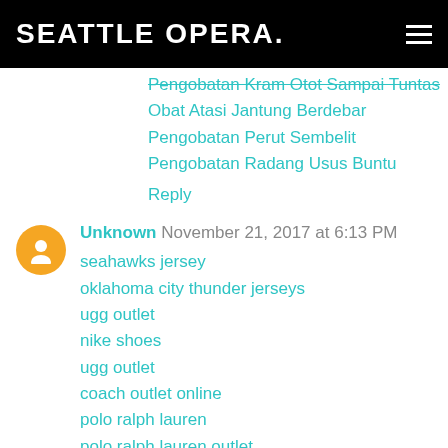SEATTLE OPERA.
Pengobatan Kram Otot Sampai Tuntas
Obat Atasi Jantung Berdebar
Pengobatan Perut Sembelit
Pengobatan Radang Usus Buntu
Reply
Unknown November 21, 2017 at 6:13 PM
seahawks jersey
oklahoma city thunder jerseys
ugg outlet
nike shoes
ugg outlet
coach outlet online
polo ralph lauren
polo ralph lauren outlet